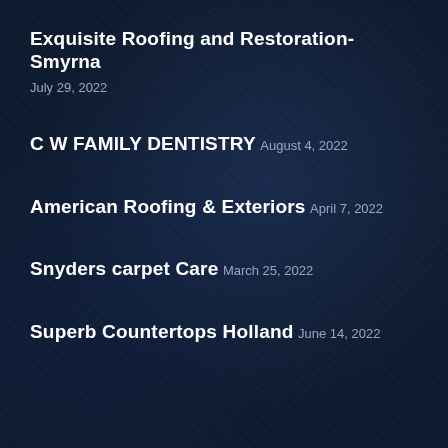Exquisite Roofing and Restoration-Smyrna
July 29, 2022
C W FAMILY DENTISTRY
August 4, 2022
American Roofing & Exteriors
April 7, 2022
Snyders carpet Care
March 25, 2022
Superb Countertops Holland
June 14, 2022